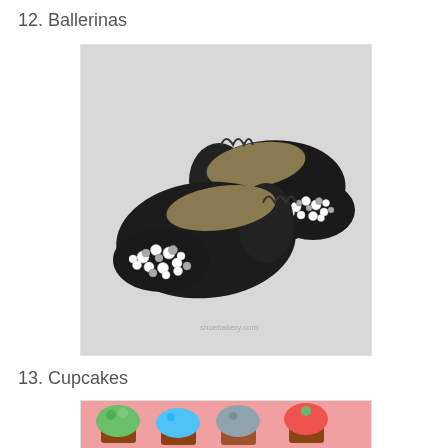12. Ballerinas
[Figure (photo): A pair of black leather ballet flat shoes with pearl and rhinestone embellishments clustered on the toe area, photographed on a light gray background.]
13. Cupcakes
[Figure (photo): Decorative cupcakes with kawaii-style character faces on a pink background, including characters resembling fruits and foods.]